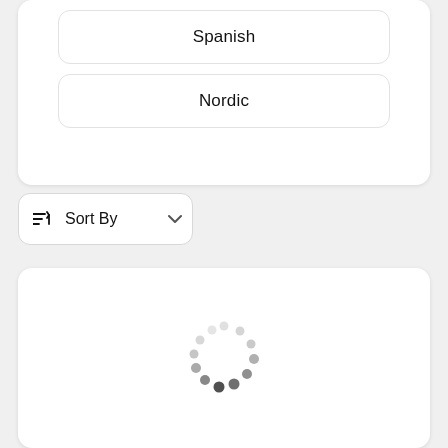Spanish
Nordic
Sort By
[Figure (screenshot): Loading spinner animation showing a circular arrangement of dots in varying shades from light gray to dark/black, indicating a loading state.]